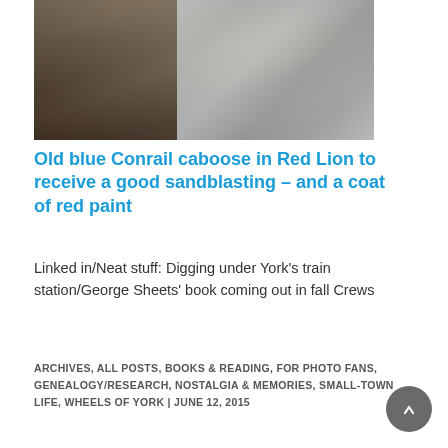[Figure (photo): Street-level photo showing base of a bronze statue on a brick paved sidewalk with trees and shadow patterns; urban street scene background]
Old blue Conrail caboose in Red Lion to receive a good sandblasting – and a coat of red paint
Linked in/Neat stuff: Digging under York's train station/George Sheets' book coming out in fall Crews
ARCHIVES, ALL POSTS, BOOKS & READING, FOR PHOTO FANS, GENEALOGY/RESEARCH, NOSTALGIA & MEMORIES, SMALL-TOWN LIFE, WHEELS OF YORK | JUNE 12, 2015